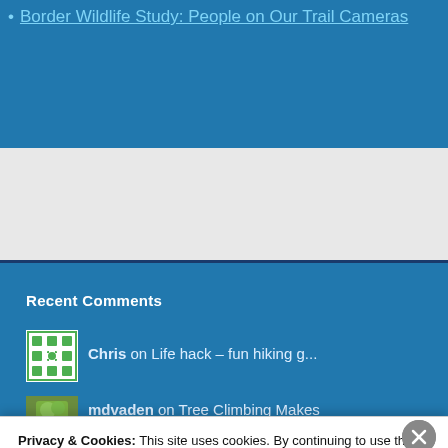Border Wildlife Study: People on Our Trail Cameras
Recent Comments
Chris on Life hack – fun hiking g...
mdvaden on Tree Climbing Makes History
Privacy & Cookies: This site uses cookies. By continuing to use this website, you agree to their use.
To find out more, including how to control cookies, see here: Cookie Policy
Close and accept